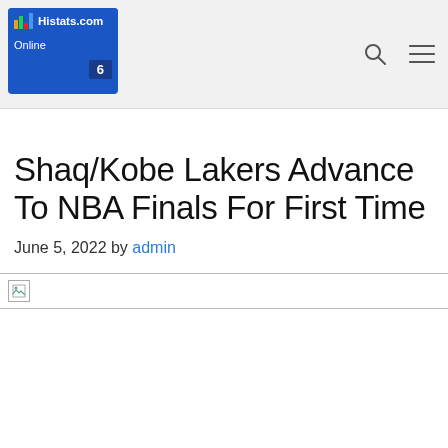[Figure (logo): Histats.com online counter widget showing blue background with colored bar chart icon, site name 'Histats.com', 'Online' label and count '6']
[Figure (other): Navigation bar with search icon (magnifying glass) and hamburger menu icon]
Shaq/Kobe Lakers Advance To NBA Finals For First Time
June 5, 2022 by admin
[Figure (photo): Broken image placeholder at the bottom of the article]